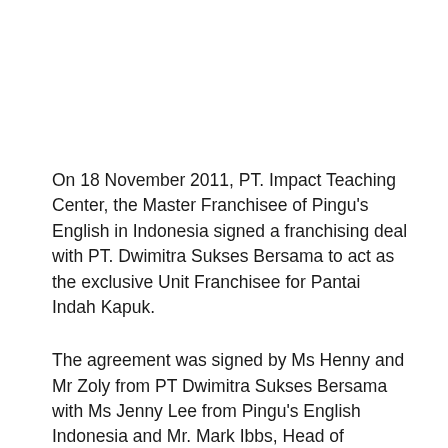On 18 November 2011, PT. Impact Teaching Center, the Master Franchisee of Pingu's English in Indonesia signed a franchising deal with PT. Dwimitra Sukses Bersama to act as the exclusive Unit Franchisee for Pantai Indah Kapuk.
The agreement was signed by Ms Henny and Mr Zoly from PT Dwimitra Sukses Bersama with Ms Jenny Lee from Pingu's English Indonesia and Mr. Mark Ibbs, Head of Business